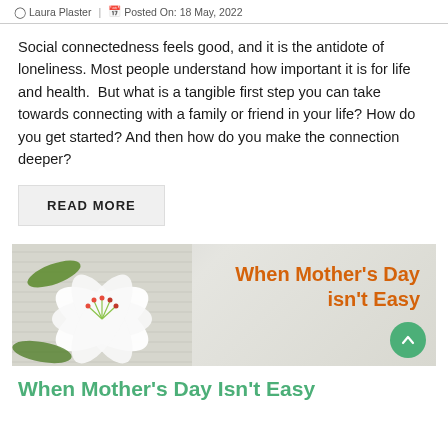Laura Plaster | Posted On: 18 May, 2022
Social connectedness feels good, and it is the antidote of loneliness. Most people understand how important it is for life and health.  But what is a tangible first step you can take towards connecting with a family or friend in your life? How do you get started? And then how do you make the connection deeper?
READ MORE
[Figure (illustration): Banner image showing a white lily flower on the left with orange stamens, on a light gray horizontal-striped background, with the text 'When Mother's Day isn't Easy' in orange bold font on the right side. A green circular scroll-up button appears at the bottom right.]
When Mother's Day Isn't Easy